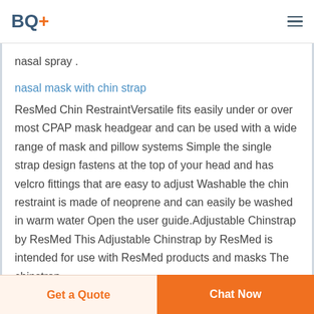BQ+
nasal spray .
nasal mask with chin strap
ResMed Chin RestraintVersatile fits easily under or over most CPAP mask headgear and can be used with a wide range of mask and pillow systems Simple the single strap design fastens at the top of your head and has velcro fittings that are easy to adjust Washable the chin restraint is made of neoprene and can easily be washed in warm water Open the user guide.Adjustable Chinstrap by ResMed This Adjustable Chinstrap by ResMed is intended for use with ResMed products and masks The chinstrap
Get a Quote  Chat Now